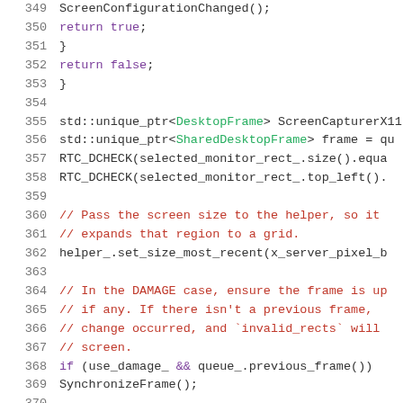[Figure (screenshot): Source code viewer showing C++ code lines 349-370 with syntax highlighting. Line numbers in gray on the left, code with purple keywords, green type names, red comments, and dark text for identifiers.]